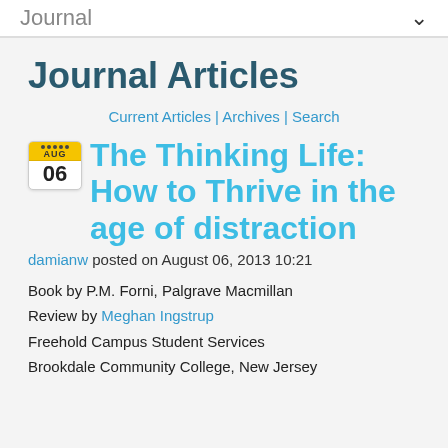Journal
Journal Articles
Current Articles | Archives | Search
The Thinking Life: How to Thrive in the age of distraction
damianw posted on August 06, 2013 10:21
Book by P.M. Forni, Palgrave Macmillan
Review by Meghan Ingstrup
Freehold Campus Student Services
Brookdale Community College, New Jersey